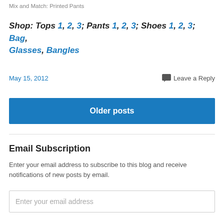Mix and Match: Printed Pants
Shop: Tops 1, 2, 3; Pants 1, 2, 3; Shoes 1, 2, 3; Bag, Glasses, Bangles
May 15, 2012
Leave a Reply
Older posts
Email Subscription
Enter your email address to subscribe to this blog and receive notifications of new posts by email.
Enter your email address